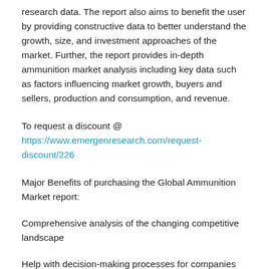research data. The report also aims to benefit the user by providing constructive data to better understand the growth, size, and investment approaches of the market. Further, the report provides in-depth ammunition market analysis including key data such as factors influencing market growth, buyers and sellers, production and consumption, and revenue.
To request a discount @ https://www.emergenresearch.com/request-discount/226
Major Benefits of purchasing the Global Ammunition Market report:
Comprehensive analysis of the changing competitive landscape
Help with decision-making processes for companies as well as detailed strategic planning methodologies